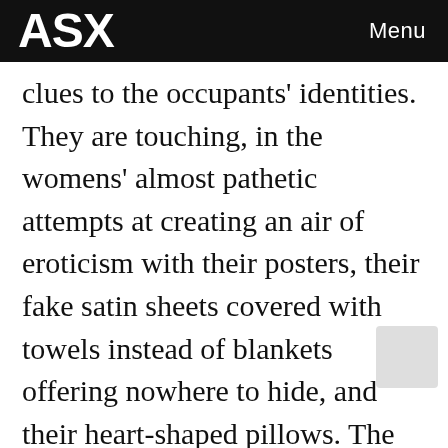ASX  Menu
clues to the occupants' identities. They are touching, in the womens' almost pathetic attempts at creating an air of eroticism with their posters, their fake satin sheets covered with towels instead of blankets offering nowhere to hide, and their heart-shaped pillows. The Hawaiian room, the Elvis room, the heavily equipped S&M room, the Empire room with the gilt mirror and flocked wallpaper, the tropical room: they exude isolation and loneliness.